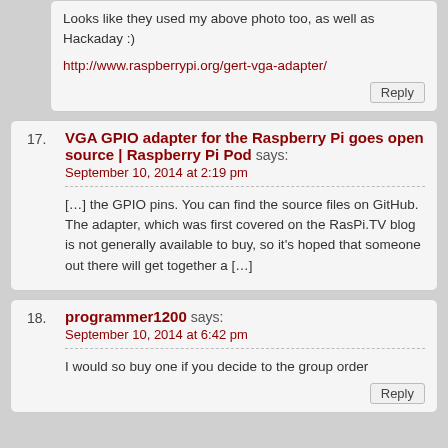Looks like they used my above photo too, as well as Hackaday :)
http://www.raspberrypi.org/gert-vga-adapter/
17. VGA GPIO adapter for the Raspberry Pi goes open source | Raspberry Pi Pod says: September 10, 2014 at 2:19 pm
[…] the GPIO pins. You can find the source files on GitHub. The adapter, which was first covered on the RasPi.TV blog is not generally available to buy, so it's hoped that someone out there will get together a […]
18. programmer1200 says: September 10, 2014 at 6:42 pm
I would so buy one if you decide to the group order